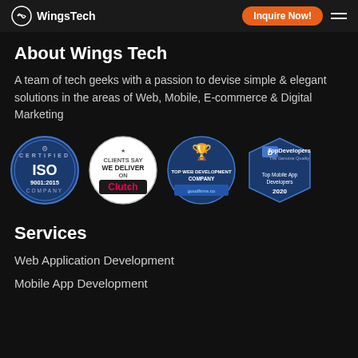WingsTech | Inquire Now!
About Wings Tech
A team of tech geeks with a passion to devise simple & elegant solutions in the areas of Web, Mobile, E-commerce & Digital Marketing
[Figure (logo): Four certification/award badges: ISO 9001:2015 Certified Company, Clients Say We Deliver On Clutch, Top Web Development Company, TopDevelopers Top Mobile App Developers 2020]
Services
Web Application Development
Mobile App Development